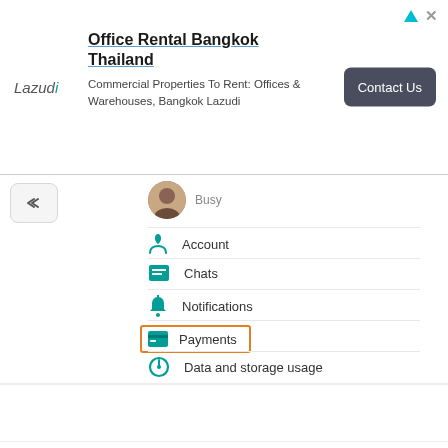[Figure (screenshot): Advertisement banner for Lazudi office rental in Bangkok Thailand with Contact Us button]
[Figure (screenshot): WhatsApp-style app settings menu showing: user avatar with Busy status, Account, Chats, Notifications, Payments (highlighted with orange border), Data and storage usage, Invite a friend, Help]
2. After this Verify Your Number.